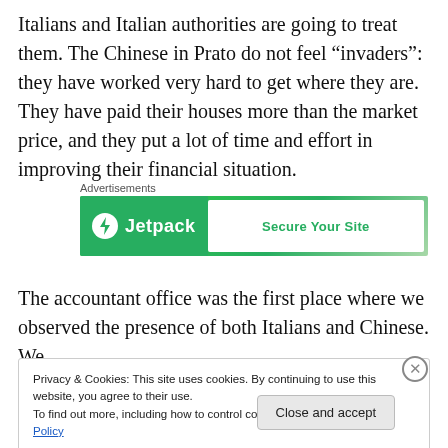Italians and Italian authorities are going to treat them. The Chinese in Prato do not feel “invaders”: they have worked very hard to get where they are. They have paid their houses more than the market price, and they put a lot of time and effort in improving their financial situation.
[Figure (other): Jetpack advertisement banner with green background showing the Jetpack logo and 'Secure Your Site' call to action]
The accountant office was the first place where we observed the presence of both Italians and Chinese. We
Privacy & Cookies: This site uses cookies. By continuing to use this website, you agree to their use.
To find out more, including how to control cookies, see here: Cookie Policy